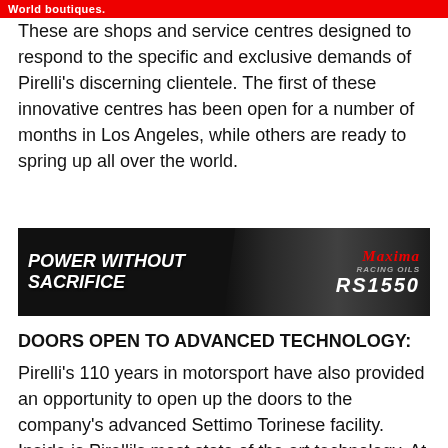World boutiques.
These are shops and service centres designed to respond to the specific and exclusive demands of Pirelli's discerning clientele. The first of these innovative centres has been open for a number of months in Los Angeles, while others are ready to spring up all over the world.
[Figure (photo): Racing advertisement banner: black background with race car, text reads 'POWER WITHOUT SACRIFICE' on left, Maxima logo and product code RS1550 on right]
DOORS OPEN TO ADVANCED TECHNOLOGY:
Pirelli's 110 years in motorsport have also provided an opportunity to open up the doors to the company's advanced Settimo Torinese facility. Inside is Pirelli's most state of the art technology. At the heart of the facility is the Next Mirs system – the most digitised industrial production system that currently exists, which represents the